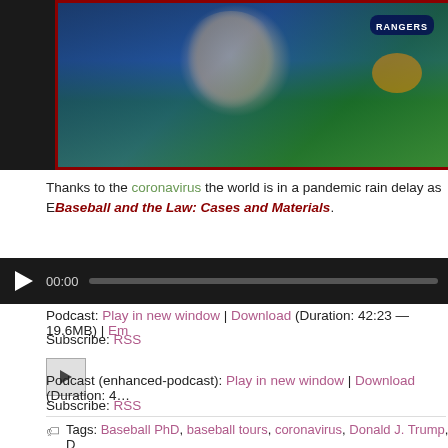[Figure (photo): Man wearing glasses and blue baseball jersey smiling at a baseball stadium, with a large blue tarp/field cover and stadium signage visible behind him. Photo has a dark red border.]
Thanks to the coronavirus the world is in a pandemic rain delay as E... Baseball and the Law: Cases and Materials.
[Figure (screenshot): Audio player bar with play button, 00:00 timestamp, and progress bar on dark background]
Podcast: Play in new window | Download (Duration: 42:23 — 19.6MB) | Em...
Subscribe: RSS
[Figure (screenshot): Small square mini audio player button with play triangle]
Podcast (enhanced-podcast): Play in new window | Download (Duration: 4...
Subscribe: RSS
Tags: Baseball PhD, baseball tours, coronavirus, Donald J. Trump, D... Farley Dillinger, Louis Schiff, Mark Rantala, Opening Day, Opening Day 2...